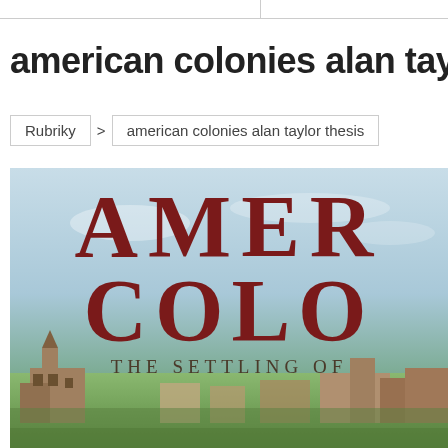american colonies alan tay
Rubriky > american colonies alan taylor thesis
[Figure (photo): Book cover of 'American Colonies: The Settling of...' showing the title text 'AMER' and 'COLO' in large dark red serif font, with subtitle 'THE SETTLING OF' and a landscape painting of colonial buildings below, on a light blue background.]